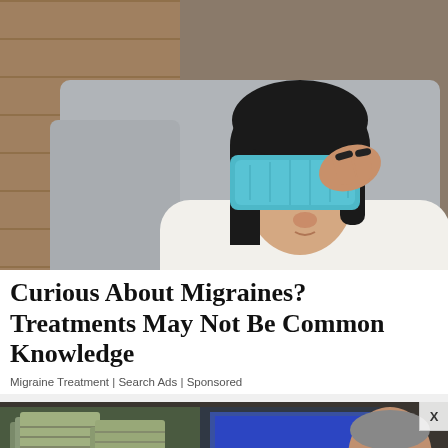[Figure (photo): Woman sitting on a grey couch holding a blue ice/gel pack over her eyes, wearing a white t-shirt, with dark hair, suggesting migraine or headache pain relief.]
Curious About Migraines? Treatments May Not Be Common Knowledge
Migraine Treatment | Search Ads | Sponsored
[Figure (photo): Bottom advertisement image showing stacks of money/cash on the left and an older Asian man with glasses on the right, partially visible, dark background with a monitor/screen visible.]
Leesburg OPEN 10AM–9PM 241 Fort Evans Rd NE, Leesburg